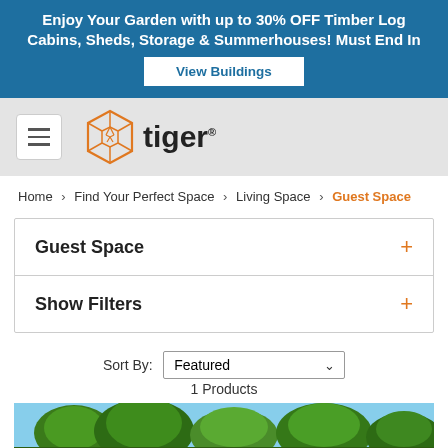Enjoy Your Garden with up to 30% OFF Timber Log Cabins, Sheds, Storage & Summerhouses! Must End In
View Buildings
[Figure (logo): Tiger brand logo with orange geometric hexagon tiger face icon and bold 'tiger' text]
Home > Find Your Perfect Space > Living Space > Guest Space
Guest Space
Show Filters
Sort By: Featured — 1 Products
[Figure (photo): Product listing photo showing trees and sky, partial view]